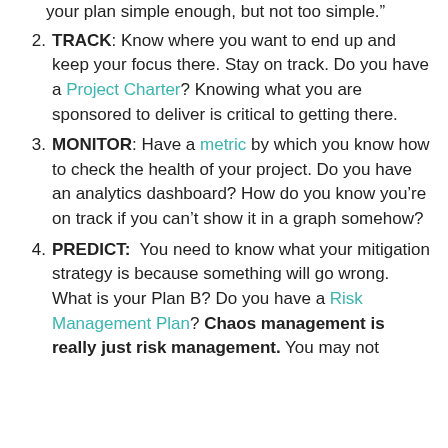your plan simple enough, but not too simple.”
TRACK: Know where you want to end up and keep your focus there. Stay on track. Do you have a Project Charter? Knowing what you are sponsored to deliver is critical to getting there.
MONITOR: Have a metric by which you know how to check the health of your project. Do you have an analytics dashboard? How do you know you’re on track if you can’t show it in a graph somehow?
PREDICT: You need to know what your mitigation strategy is because something will go wrong. What is your Plan B? Do you have a Risk Management Plan? Chaos management is really just risk management. You may not